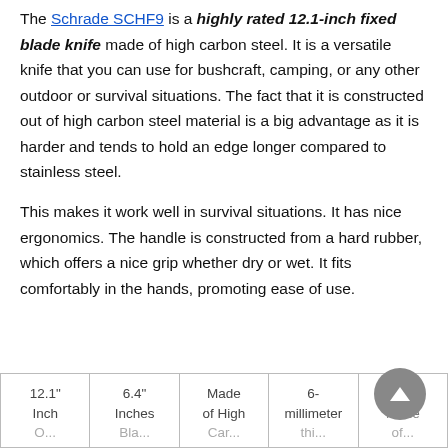The Schrade SCHF9 is a highly rated 12.1-inch fixed blade knife made of high carbon steel. It is a versatile knife that you can use for bushcraft, camping, or any other outdoor or survival situations. The fact that it is constructed out of high carbon steel material is a big advantage as it is harder and tends to hold an edge longer compared to stainless steel.
This makes it work well in survival situations. It has nice ergonomics. The handle is constructed from a hard rubber, which offers a nice grip whether dry or wet. It fits comfortably in the hands, promoting ease of use.
| 12.1" Inch ... | 6.4" Inches Bl... | Made of High Ca... | 6-millimeter thi... | Handle Made of... |
| --- | --- | --- | --- | --- |